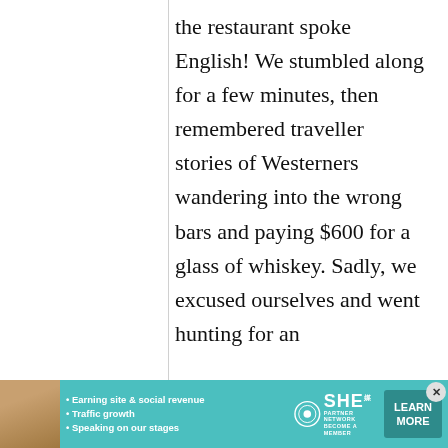the restaurant spoke English! We stumbled along for a few minutes, then remembered traveller stories of Westerners wandering into the wrong bars and paying $600 for a glass of whiskey. Sadly, we excused ourselves and went hunting for an
[Figure (infographic): Advertisement banner for SHE Partner Network. Features a woman photo on left, bullet points about earning site & social revenue, traffic growth, speaking on our stages, SHE Partner Network logo, and a teal LEARN MORE button.]